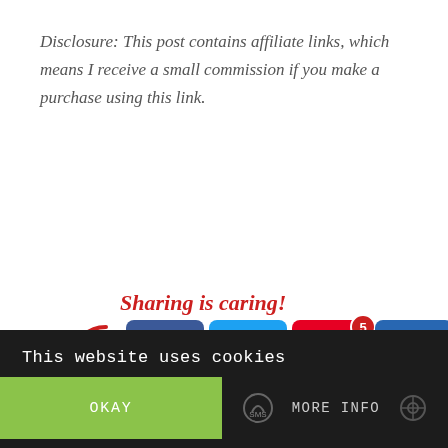Disclosure: This post contains affiliate links, which means I receive a small commission if you make a purchase using this link.
[Figure (infographic): Sharing is caring! social sharing buttons including Facebook, Twitter, Pinterest (with badge 5), LinkedIn, Email, and a green print/share button, with a red curled arrow pointing to them.]
This website uses cookies — OKAY | MORE INFO